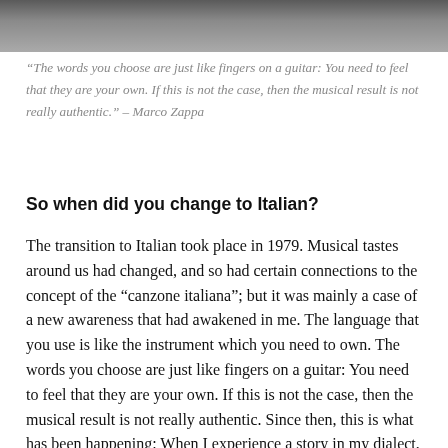[Figure (photo): Top portion of a photograph of a person, cropped to show only the upper part of the image. Gray/dark toned image strip.]
“The words you choose are just like fingers on a guitar: You need to feel that they are your own. If this is not the case, then the musical result is not really authentic.” – Marco Zappa
So when did you change to Italian?
The transition to Italian took place in 1979. Musical tastes around us had changed, and so had certain connections to the concept of the “canzone italiana”; but it was mainly a case of a new awareness that had awakened in me. The language that you use is like the instrument which you need to own. The words you choose are just like fingers on a guitar: You need to feel that they are your own. If this is not the case, then the musical result is not really authentic. Since then, this is what has been happening: When I experience a story in my dialect, then I have to write it in my dialect, and if I experience it in Italian, I have to write it in Italian. The same applies to any other languages. That’s not a decision I have to take up front, it is the story itself that I want to tell which leads me onto an